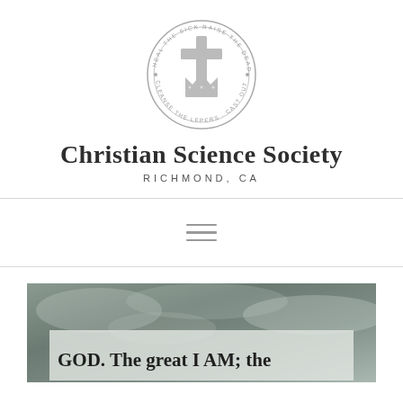[Figure (logo): Circular seal logo with a cross and crown in the center. Text around the circle reads: HEAL THE SICK RAISE THE DEAD · CLEANSE THE LEPERS · CAST OUT DEMONS]
Christian Science Society
RICHMOND, CA
[Figure (other): Hamburger menu icon — three horizontal lines]
[Figure (photo): Cloudy sky background image with a light-colored translucent text box overlay at the bottom containing text: GOD. The great I AM; the]
GOD.   The great I AM; the